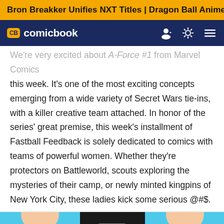Bron Breakker Unifies NXT Titles | Dragon Ball Anime Rumor
CB comicbook
We're very excited about A-Force #1 from Marvel Comics this week. It's one of the most exciting concepts emerging from a wide variety of Secret Wars tie-ins, with a killer creative team attached. In honor of the series' great premise, this week's installment of Fastball Feedback is solely dedicated to comics with teams of powerful women. Whether they're protectors on Battleworld, scouts exploring the mysteries of their camp, or newly minted kingpins of New York City, these ladies kick some serious @#$.
[Figure (illustration): Bottom portion of a comic book panel showing two characters on a cyan/blue background, partially cropped]